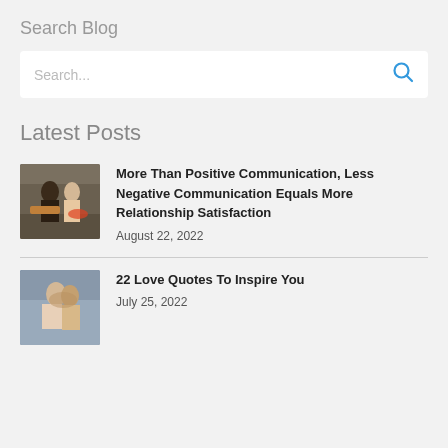Search Blog
Search...
Latest Posts
[Figure (photo): Two people cooking together in a kitchen]
More Than Positive Communication, Less Negative Communication Equals More Relationship Satisfaction
August 22, 2022
[Figure (photo): Couple embracing closely, romantic scene]
22 Love Quotes To Inspire You
July 25, 2022